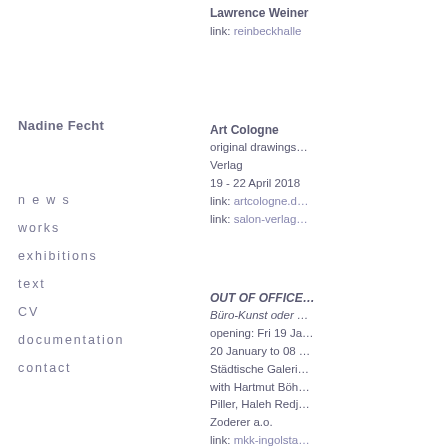Lawrence Weiner
link: reinbeckhalle…
Nadine Fecht
n e w s
works
exhibitions
text
CV
documentation
contact
Art Cologne
original drawings… Verlag
19 - 22 April 2018
link: artcologne.d…
link: salon-verlag…
OUT OF OFFICE…
Büro-Kunst oder …
opening: Fri 19 Ja…
20 January to 08 …
Städtische Galeri…
with Hartmut Böh…
Piller, Haleh Redj…
Zoderer a.o.
link: mkk-ingolsta…
FOKUS PAPIER:…
Kunstmuseum Ba…
curated by Anita K…